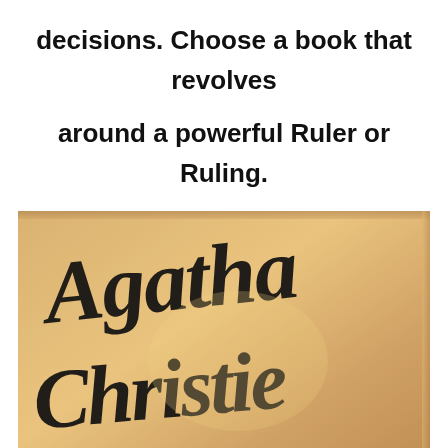decisions. Choose a book that revolves around a powerful Ruler or Ruling.
[Figure (illustration): Book cover of Agatha Christie's 'The...' showing the author's cursive signature name 'Agatha Christie' in large black script on a warm tan/beige background, with partial title text 'THE' visible at the bottom and a small illustration.]